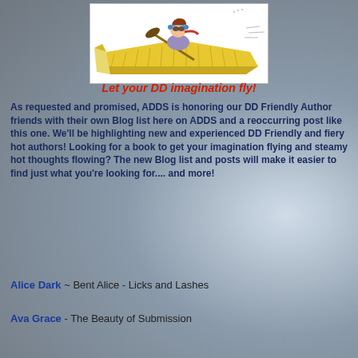[Figure (illustration): Cartoon illustration of a person wearing goggles and headphones, riding on a large open book like a flying carpet or kayak, paddling through the air.]
Let your DD imagination fly!
As requested and promised, ADDS is honoring our DD Friendly Author friends with their own Blog list here on ADDS and a reoccurring post like this one. We'll be highlighting new and experienced DD Friendly and fiery hot authors! Looking for a book to get your imagination flying and steamy hot thoughts flowing? The new Blog list and posts will make it easier to find just what you're looking for.... and more!
Alice Dark ~ Bent Alice - Licks and Lashes
Ava Grace - The Beauty of Submission